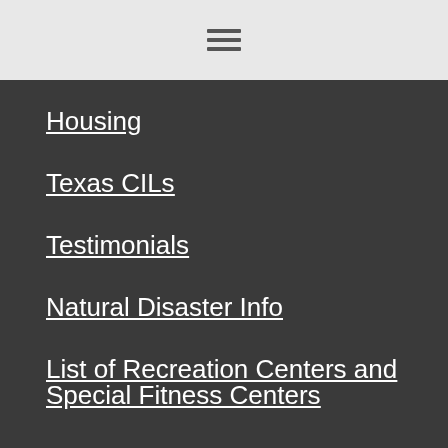≡ (hamburger menu icon)
Housing
Texas CILs
Testimonials
Natural Disaster Info
List of Recreation Centers and Special Fitness Centers